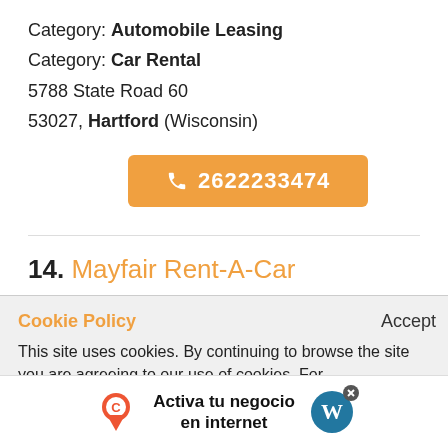Category: Automobile Leasing
Category: Car Rental
5788 State Road 60
53027, Hartford (Wisconsin)
2622233474
14. Mayfair Rent-A-Car
Category: Automobile Leasing
Cookie Policy
Accept
This site uses cookies. By continuing to browse the site you are agreeing to our use of cookies. For
Activa tu negocio en internet